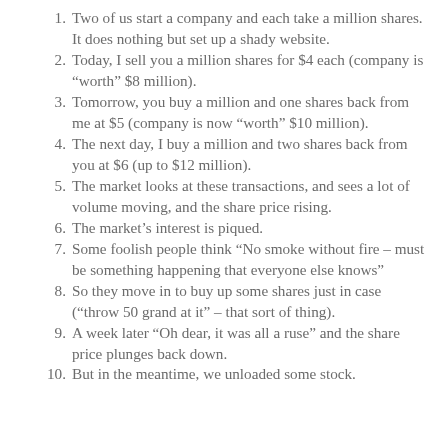Two of us start a company and each take a million shares. It does nothing but set up a shady website.
Today, I sell you a million shares for $4 each (company is “worth” $8 million).
Tomorrow, you buy a million and one shares back from me at $5 (company is now “worth” $10 million).
The next day, I buy a million and two shares back from you at $6 (up to $12 million).
The market looks at these transactions, and sees a lot of volume moving, and the share price rising.
The market’s interest is piqued.
Some foolish people think “No smoke without fire – must be something happening that everyone else knows”
So they move in to buy up some shares just in case (“throw 50 grand at it” – that sort of thing).
A week later “Oh dear, it was all a ruse” and the share price plunges back down.
But in the meantime, we unloaded some stock.